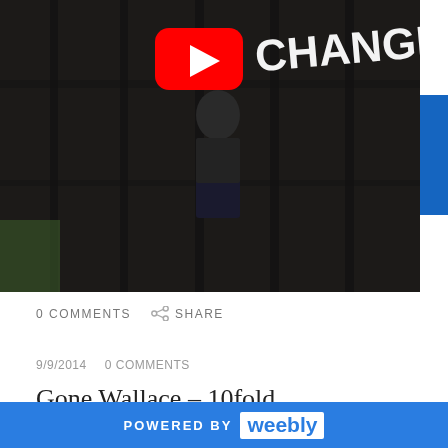[Figure (screenshot): YouTube video thumbnail showing a person standing in front of large dark wooden doors with text 'CHANGE' visible and a YouTube play button overlay]
0 COMMENTS
SHARE
9/9/2014   0 COMMENTS
Gone Wallace – 10fold [@GoneWallace]
[Figure (screenshot): SoundCloud embedded player showing error: Oops, we couldn't find that track.]
POWERED BY weebly